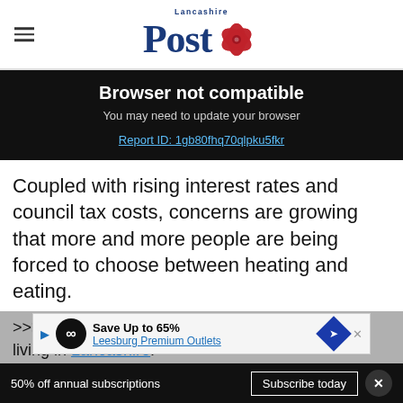Lancashire Post
Browser not compatible
You may need to update your browser
Report ID: 1gb80fhq70qlpku5fkr
Coupled with rising interest rates and council tax costs, concerns are growing that more and more people are being forced to choose between heating and eating.
>>>C... s of living in Lancashire.
[Figure (screenshot): Advertisement banner: Save Up to 65% - Leesburg Premium Outlets with infinity logo and navigation icon]
50% off annual subscriptions  Subscribe today